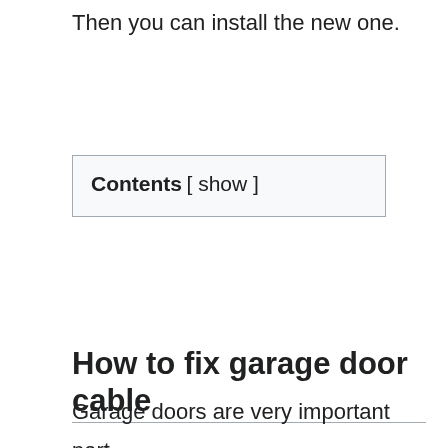Then you can install the new one.
Contents [ show ]
How to fix garage door cable
Garage doors are very important part of our house. It is used for many reasons such as security, privacy, and convenience. Garage doors are usually